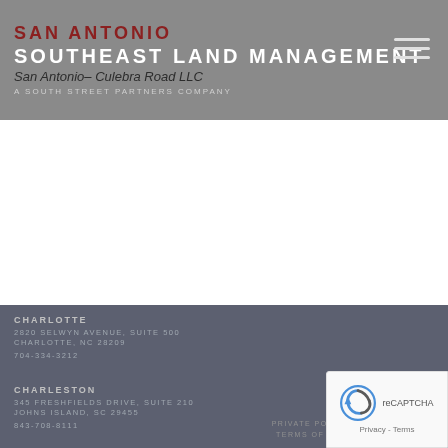SAN ANTONIO SOUTHEAST LAND MANAGEMENT San Antonio- Culebra Road LLC A SOUTH STREET PARTNERS COMPANY
CHARLOTTE
2820 SELWYN AVENUE, SUITE 500
CHARLOTTE, NC 28209
704-334-3212
CHARLESTON
345 FRESHFIELDS DRIVE, SUITE 210
JOHNS ISLAND, SC 29455
843-708-8111
PRIVATE PO... TERMS OF ...